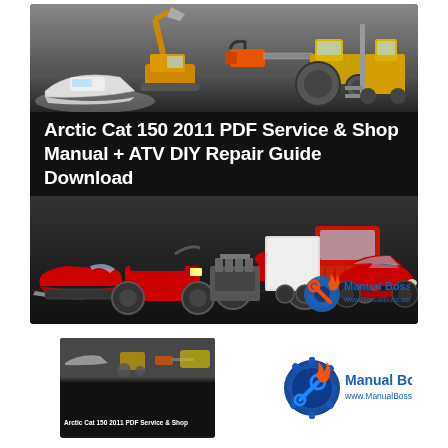[Figure (illustration): Large banner image showing various vehicles and machinery including boats, construction equipment, tractors, chainsaws, forklifts, ATVs, motorcycles, semi-trucks, snowmobiles, car engines, and a red sports car on a dark/grey background. Title text reads 'Arctic Cat 150 2011 PDF Service & Shop Manual + ATV DIY Repair Guide Download'. Manual Boss logo in bottom right corner.]
[Figure (illustration): Thumbnail version of the banner image showing vehicles and machinery on dark background, with partial title text 'Arctic Cat 150 2011 PDF Service & Shop...' visible at bottom.]
[Figure (logo): Manual Boss logo with wrench/gear icon in blue and red, text 'Manual Boss' and 'www.ManualBoss.com' in blue.]